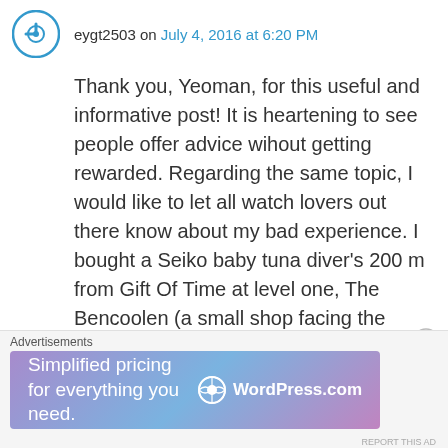eygt2503 on July 4, 2016 at 6:20 PM
Thank you, Yeoman, for this useful and informative post! It is heartening to see people offer advice wihout getting rewarded. Regarding the same topic, I would like to let all watch lovers out there know about my bad experience. I bought a Seiko baby tuna diver’s 200 m from Gift Of Time at level one, The Bencoolen (a small shop facing the escalator to the basement), this Jan (In all, 3 watches since last year). The price, I discovered later, was not cheaper than at Thong Sia.The staff assured me that the watch is covered by Thong Sia for 1
Advertisements
[Figure (infographic): WordPress.com advertisement banner: Simplified pricing for everything you need. WordPress.com logo on right side. Purple-blue gradient background.]